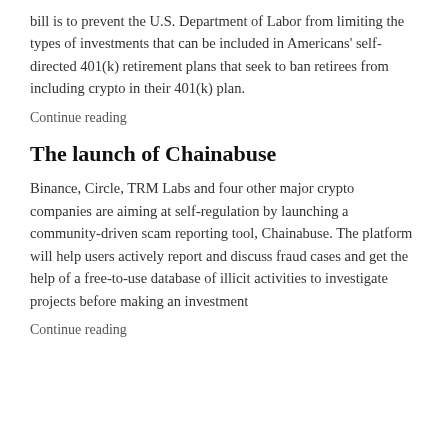bill is to prevent the U.S. Department of Labor from limiting the types of investments that can be included in Americans' self-directed 401(k) retirement plans that seek to ban retirees from including crypto in their 401(k) plan.
Continue reading
The launch of Chainabuse
Binance, Circle, TRM Labs and four other major crypto companies are aiming at self-regulation by launching a community-driven scam reporting tool, Chainabuse. The platform will help users actively report and discuss fraud cases and get the help of a free-to-use database of illicit activities to investigate projects before making an investment
Continue reading